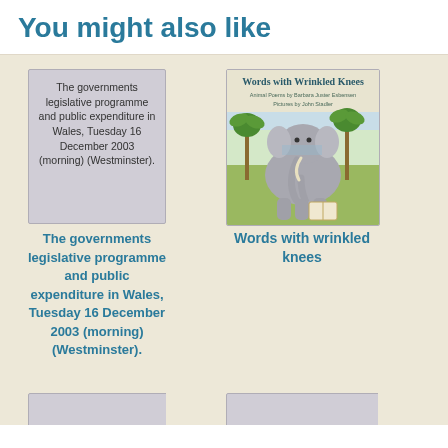You might also like
[Figure (illustration): Placeholder book cover with text: The governments legislative programme and public expenditure in Wales, Tuesday 16 December 2003 (morning) (Westminster).]
[Figure (illustration): Book cover illustration: 'Words with Wrinkled Knees' showing an elephant reading a book, with palm trees in the background. Animal Poems by Barbara Juster Esbensen, Pictures by John Stadler.]
The governments legislative programme and public expenditure in Wales, Tuesday 16 December 2003 (morning) (Westminster).
Words with wrinkled knees
[Figure (illustration): Partial placeholder book cover (bottom, left), partially visible.]
[Figure (illustration): Partial placeholder book cover (bottom, right), partially visible.]